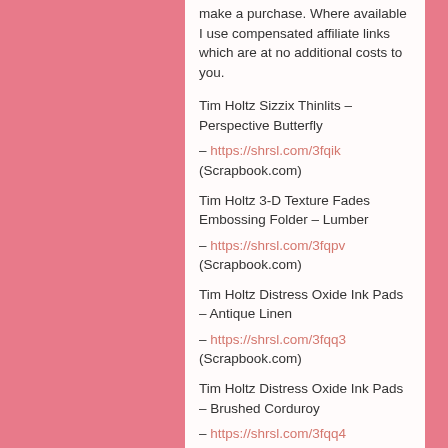make a purchase. Where available I use compensated affiliate links which are at no additional costs to you.
Tim Holtz Sizzix Thinlits – Perspective Butterfly
– https://shrsl.com/3fqik (Scrapbook.com)
Tim Holtz 3-D Texture Fades Embossing Folder – Lumber
– https://shrsl.com/3fqpv (Scrapbook.com)
Tim Holtz Distress Oxide Ink Pads – Antique Linen
– https://shrsl.com/3fqq3 (Scrapbook.com)
Tim Holtz Distress Oxide Ink Pads – Brushed Corduroy
– https://shrsl.com/3fqq4 (Scrapbook.com)